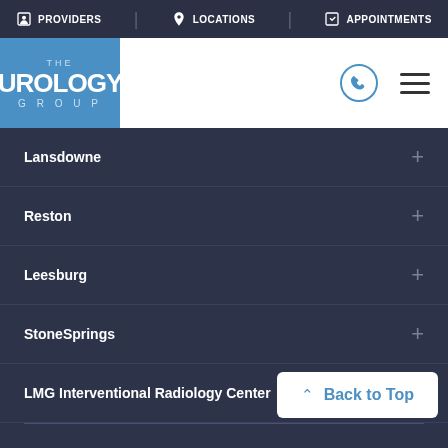PROVIDERS | LOCATIONS | APPOINTMENTS
[Figure (logo): The Urology Group logo - blue square with white text]
Lansdowne
Reston
Leesburg
StoneSprings
LMG Interventional Radiology Center
Providers
Back to Top